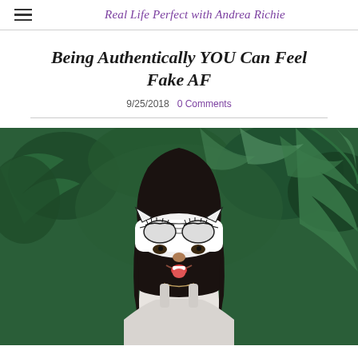Real Life Perfect with Andrea Richie
Being Authentically YOU Can Feel Fake AF
9/25/2018   0 Comments
[Figure (photo): Woman with dark hair holding a decorative black-and-white cat mask over her eyes, sticking her tongue out playfully, with tropical green foliage in the background.]